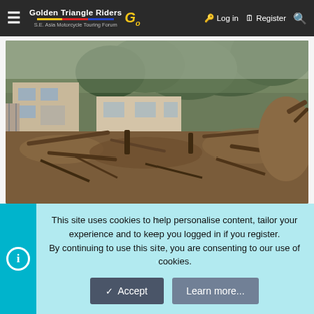Golden Triangle Riders — S.E. Asia Motorcycle Touring Forums — Log in — Register
[Figure (photo): Flood damage scene showing debris, fallen bamboo and logs covering a riverbank area next to damaged buildings with trees in background]
Most, if not all, of the bamboo ghouses alongside / across the river have been wiped out. Nearly all riverside ghouses have extensive damage.
This site uses cookies to help personalise content, tailor your experience and to keep you logged in if you register. By continuing to use this site, you are consenting to our use of cookies.